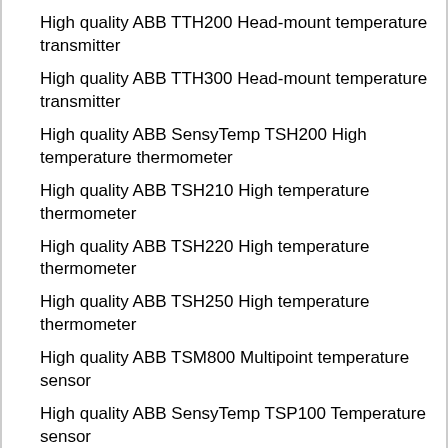High quality ABB TTH200 Head-mount temperature transmitter
High quality ABB TTH300 Head-mount temperature transmitter
High quality ABB SensyTemp TSH200 High temperature thermometer
High quality ABB TSH210 High temperature thermometer
High quality ABB TSH220 High temperature thermometer
High quality ABB TSH250 High temperature thermometer
High quality ABB TSM800 Multipoint temperature sensor
High quality ABB SensyTemp TSP100 Temperature sensor
High quality ABB SensyTemp TSP111 Temperature sensor
High quality ABB SensyTemp TSP121 Temperature sensor
High quality ABB SensyTemp TSP131 Temperature sensor
High quality ABB SensyTemp TSP300 Temperature sensor
High quality ABB SensyTemp TSP311 Temperature sensor
High quality ABB SensyTemp TSP321 Temperature sensor
High quality ABB SensyTemp TSP331 Temperature sensor